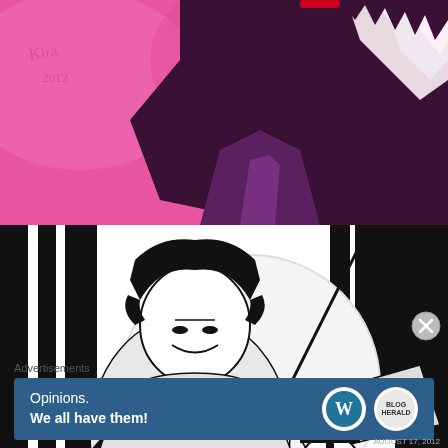[Figure (illustration): Anime/manga style digital illustration with pink background showing a character with dark clothing and white/light pink hair, with a signature and '2012' text in the upper left corner.]
[Figure (illustration): Black and white manga-style ink illustration showing two characters in dramatic pose, one large figure looming over a smaller figure, with strong contrast and detailed linework.]
Advertisements
[Figure (other): Advertisement banner with dark blue background reading 'Opinions. We all have them!' with WordPress logo (W) and another circular logo on the right side.]